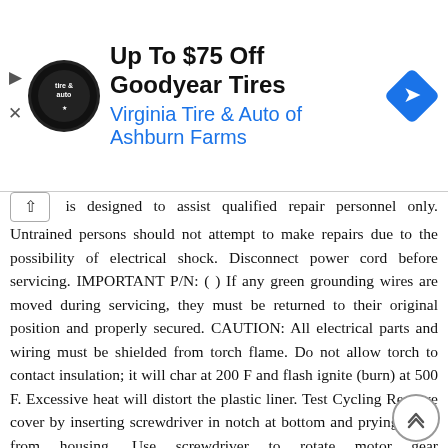[Figure (other): Advertisement banner: Virginia Tire & Auto of Ashburn Farms — Up To $75 Off Goodyear Tires. Shows tire & auto logo, navigation icon, and sponsor name in blue.]
is designed to assist qualified repair personnel only. Untrained persons should not attempt to make repairs due to the possibility of electrical shock. Disconnect power cord before servicing. IMPORTANT P/N: ( ) If any green grounding wires are moved during servicing, they must be returned to their original position and properly secured. CAUTION: All electrical parts and wiring must be shielded from torch flame. Do not allow torch to contact insulation; it will char at 200 F and flash ignite (burn) at 500 F. Excessive heat will distort the plastic liner. Test Cycling Remove cover by inserting screwdriver in notch at bottom and prying cover from housing. Use screwdriver to rotate motor gear counterclockwise until Holding Switch circuit is completed. All components of ice maker should function to complete the cycle. Water Fill Volume The water fill adjustment screw will change the fill time. One full turn is equal to 20cc (.68 oz.). The correct fill is 102 to 130cc (3.4